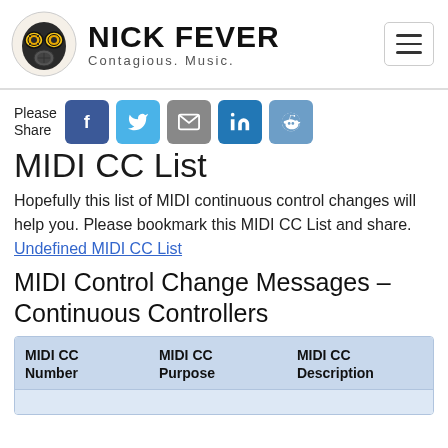NICK FEVER Contagious. Music.
Please Share
MIDI CC List
Hopefully this list of MIDI continuous control changes will help you. Please bookmark this MIDI CC List and share. Undefined MIDI CC List
MIDI Control Change Messages – Continuous Controllers
| MIDI CC Number | MIDI CC Purpose | MIDI CC Description |
| --- | --- | --- |
|  |  |  |